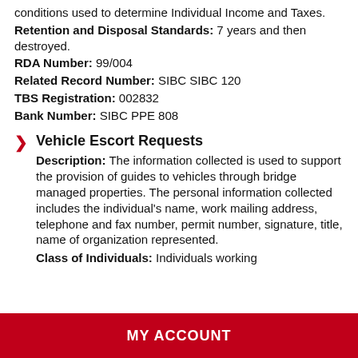conditions used to determine Individual Income and Taxes.
Retention and Disposal Standards: 7 years and then destroyed.
RDA Number: 99/004
Related Record Number: SIBC SIBC 120
TBS Registration: 002832
Bank Number: SIBC PPE 808
Vehicle Escort Requests Description: The information collected is used to support the provision of guides to vehicles through bridge managed properties. The personal information collected includes the individual's name, work mailing address, telephone and fax number, permit number, signature, title, name of organization represented. Class of Individuals: Individuals working...
MY ACCOUNT